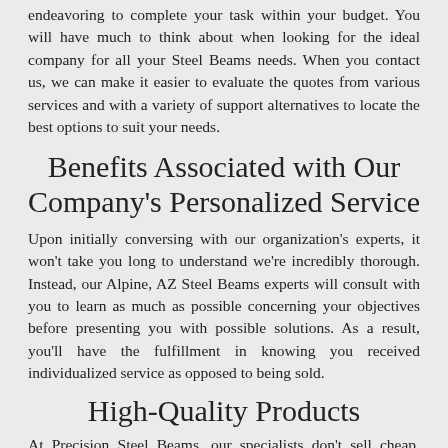endeavoring to complete your task within your budget. You will have much to think about when looking for the ideal company for all your Steel Beams needs. When you contact us, we can make it easier to evaluate the quotes from various services and with a variety of support alternatives to locate the best options to suit your needs.
Benefits Associated with Our Company's Personalized Service
Upon initially conversing with our organization's experts, it won't take you long to understand we're incredibly thorough. Instead, our Alpine, AZ Steel Beams experts will consult with you to learn as much as possible concerning your objectives before presenting you with possible solutions. As a result, you'll have the fulfillment in knowing you received individualized service as opposed to being sold.
High-Quality Products
At Precision Steel Beams, our specialists don't sell cheap, flimsy products because even though these Steel Beams products might help you save a little today, they'll end up